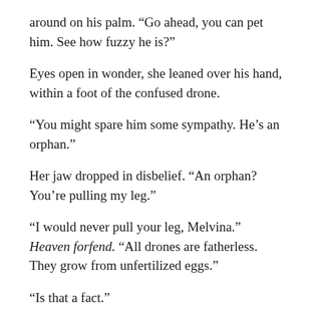around on his palm. “Go ahead, you can pet him. See how fuzzy he is?”
Eyes open in wonder, she leaned over his hand, within a foot of the confused drone.
“You might spare him some sympathy. He’s an orphan.”
Her jaw dropped in disbelief. “An orphan? You’re pulling my leg.”
“I would never pull your leg, Melvina.” Heaven forfend. “All drones are fatherless. They grow from unfertilized eggs.”
“Is that a fact.”
He flicked his hand and the drone flew off toward the hive.
She asked her question. “I mean, I couldn’t...